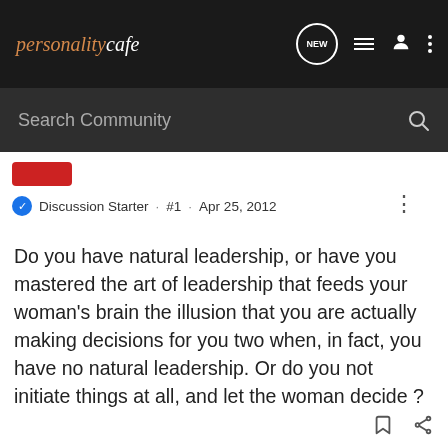personalitycafe — navigation bar with Search Community
Discussion Starter · #1 · Apr 25, 2012
Do you have natural leadership, or have you mastered the art of leadership that feeds your woman's brain the illusion that you are actually making decisions for you two when, in fact, you have no natural leadership. Or do you not initiate things at all, and let the woman decide ?
Ti-Fe 7w8 8w7 3w4 sp/sx